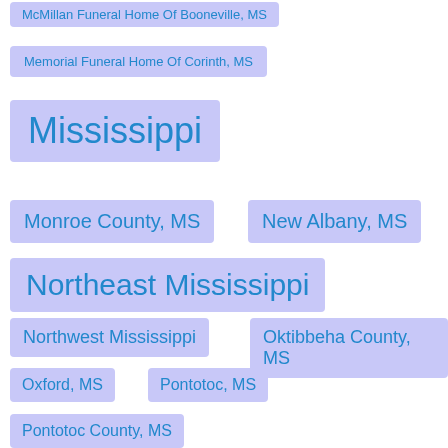McMillan Funeral Home Of Booneville, MS
Memorial Funeral Home Of Corinth, MS
Mississippi
Monroe County, MS
New Albany, MS
Northeast Mississippi
Northwest Mississippi
Oktibbeha County, MS
Oxford, MS
Pontotoc, MS
Pontotoc County, MS
Prentiss County, MS
Serenity Funeral Homes Of North MS